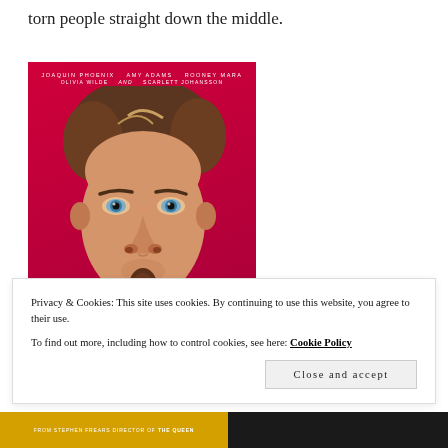torn people straight down the middle.
[Figure (photo): Movie poster for 'Her' featuring a close-up of a man (Joaquin Phoenix) with brown curly hair, blue eyes, and a soul patch/goatee, against a bright red/magenta background. Text at top reads: JOAQUIN PHOENIX  AMY ADAMS  ROONEY MARA / OLIVIA WILDE  and  SCARLETT JOHANSSON]
Privacy & Cookies: This site uses cookies. By continuing to use this website, you agree to their use.
To find out more, including how to control cookies, see here: Cookie Policy
Close and accept
[Figure (photo): Bottom strip showing two partial movie images: left is a yellow/gold banner reading 'FROM STEPHEN FREARS DIRECTOR OF THE QUEEN', right is a dark/black and white film still]